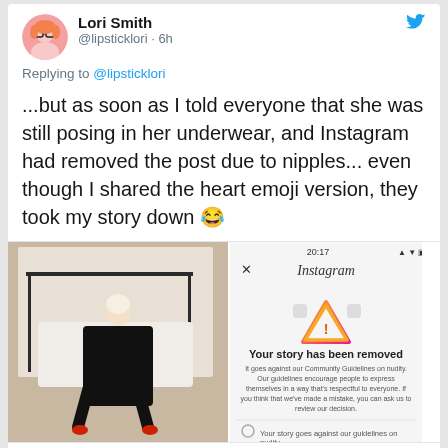[Figure (screenshot): Twitter/X tweet by Lori Smith (@lipsticklori) 6h ago, replying to @lipsticklori. Text: ...but as soon as I told everyone that she was still posing in her underwear, and Instagram had removed the post due to nipples... even though I shared the heart emoji version, they took my story down [laughing emoji]. Embedded image of Instagram story removal notice. Reply count: 3, Like count: 2.]
Lori Smith
@lipsticklori · 6h
Replying to @lipsticklori
...but as soon as I told everyone that she was still posing in her underwear, and Instagram had removed the post due to nipples... even though I shared the heart emoji version, they took my story down 😂
[Figure (screenshot): Embedded screenshot showing Instagram story removal notification saying 'Your story has been removed' with Community Guidelines warning about nudity, alongside a photo of a blonde woman in black outfit on a bed.]
3 replies, 2 likes
Lori Smith (second tweet header, partial)